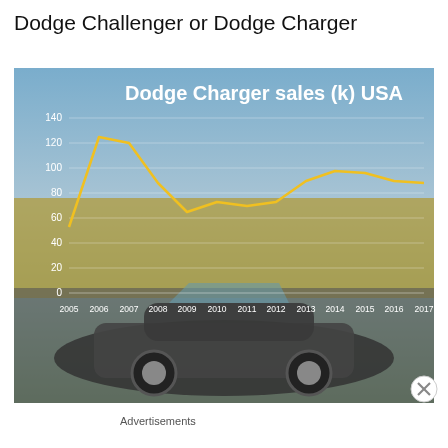Dodge Challenger or Dodge Charger
[Figure (line-chart): Dodge Charger sales (k) USA]
Advertisements